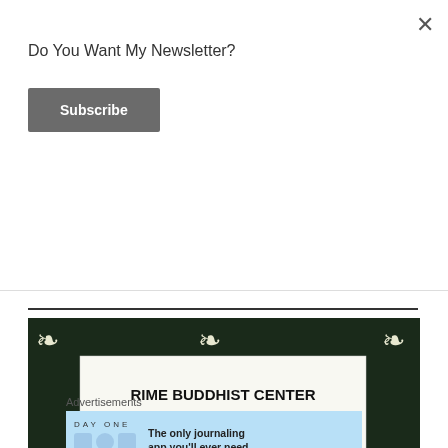Do You Want My Newsletter?
Subscribe
[Figure (photo): Certificate from Rime Buddhist Center certifying that Daniel Scharpenburg has successfully completed the required course of study for Meditation Instructor Training and is awarded this...]
Advertisements
[Figure (screenshot): Day One journaling app advertisement: 'The only journaling app you'll ever need.']